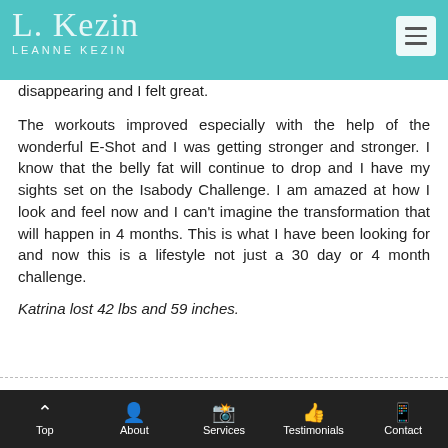Leanne Kezin
disappearing and I felt great.
The workouts improved especially with the help of the wonderful E-Shot and I was getting stronger and stronger. I know that the belly fat will continue to drop and I have my sights set on the Isabody Challenge. I am amazed at how I look and feel now and I can't imagine the transformation that will happen in 4 months. This is what I have been looking for and now this is a lifestyle not just a 30 day or 4 month challenge.
Katrina lost 42 lbs and 59 inches.
Top | About | Services | Testimonials | Contact